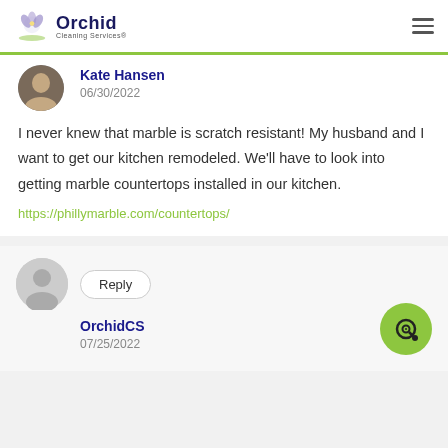Orchid Cleaning Services
Kate Hansen
06/30/2022
I never knew that marble is scratch resistant! My husband and I want to get our kitchen remodeled. We'll have to look into getting marble countertops installed in our kitchen.
https://phillymarble.com/countertops/
Reply
OrchidCS
07/25/2022